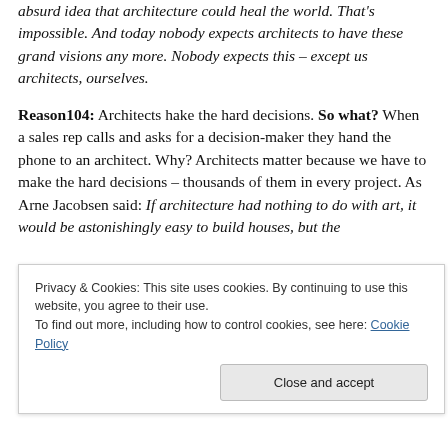absurd idea that architecture could heal the world. That's impossible. And today nobody expects architects to have these grand visions any more. Nobody expects this – except us architects, ourselves.
Reason104: Architects hake the hard decisions. So what? When a sales rep calls and asks for a decision-maker they hand the phone to an architect. Why? Architects matter because we have to make the hard decisions – thousands of them in every project. As Arne Jacobsen said: If architecture had nothing to do with art, it would be astonishingly easy to build houses, but the
Privacy & Cookies: This site uses cookies. By continuing to use this website, you agree to their use. To find out more, including how to control cookies, see here: Cookie Policy
Close and accept